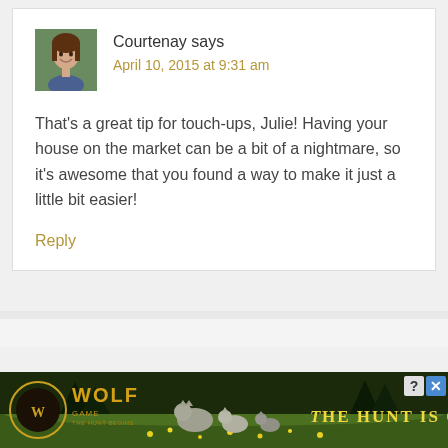Courtenay says
April 10, 2015 at 9:31 am
That's a great tip for touch-ups, Julie! Having your house on the market can be a bit of a nightmare, so it's awesome that you found a way to make it just a little bit easier!
Reply
[Figure (photo): Advertisement banner for Wolf Game: The Hunt Is On! showing wolves in a meadow with yellow flowers]